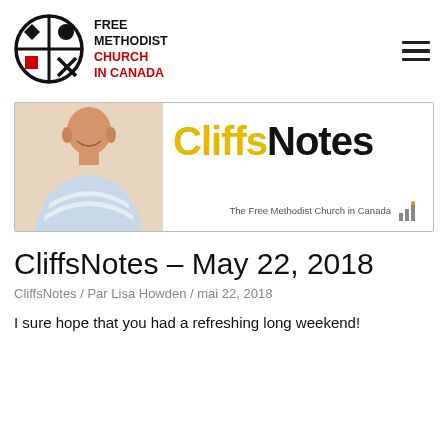FREE METHODIST CHURCH IN CANADA
[Figure (illustration): CliffsNotes banner with a bald smiling man in a striped shirt on the left, and the text 'CliffsNotes' in large yellow and black font on the right, with 'The Free Methodist Church in Canada' and a church icon at the bottom right]
CliffsNotes – May 22, 2018
CliffsNotes / Par Lisa Howden / mai 22, 2018
I sure hope that you had a refreshing long weekend!